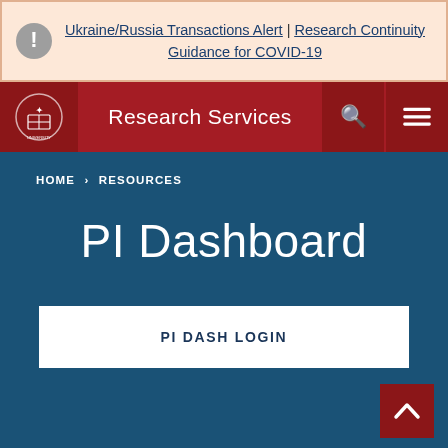Ukraine/Russia Transactions Alert | Research Continuity Guidance for COVID-19
Research Services
HOME > RESOURCES
PI Dashboard
PI DASH LOGIN